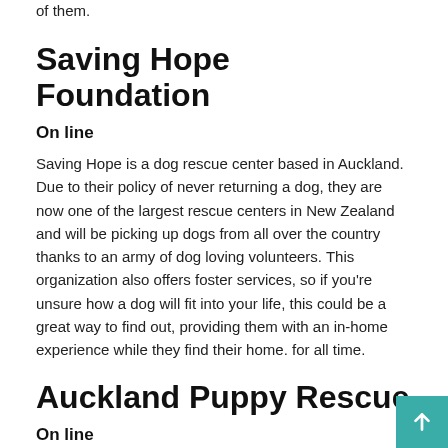of them.
Saving Hope Foundation
On line
Saving Hope is a dog rescue center based in Auckland. Due to their policy of never returning a dog, they are now one of the largest rescue centers in New Zealand and will be picking up dogs from all over the country thanks to an army of dog loving volunteers. This organization also offers foster services, so if you're unsure how a dog will fit into your life, this could be a great way to find out, providing them with an in-home experience while they find their home. for all time.
Auckland Puppy Rescue
On line
The guys at Auckland Puppy Rescue are dedicated to